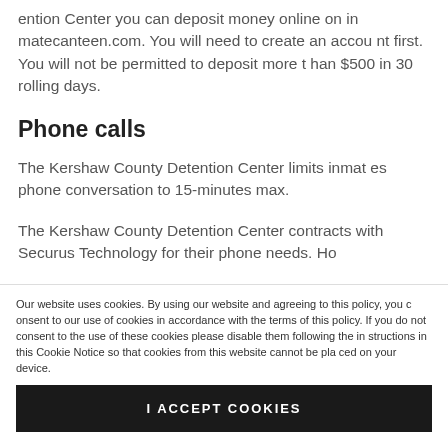ention Center you can deposit money online on inmatecanteen.com. You will need to create an account first. You will not be permitted to deposit more than $500 in 30 rolling days.
Phone calls
The Kershaw County Detention Center limits inmates phone conversation to 15-minutes max.
The Kershaw County Detention Center contracts with Securus Technology for their phone needs. Ho
Our website uses cookies. By using our website and agreeing to this policy, you consent to our use of cookies in accordance with the terms of this policy. If you do not consent to the use of these cookies please disable them following the instructions in this Cookie Notice so that cookies from this website cannot be placed on your device.
I ACCEPT COOKIES